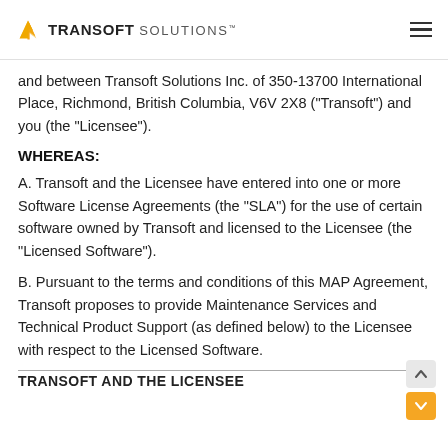TRANSOFT SOLUTIONS
and between Transoft Solutions Inc. of 350-13700 International Place, Richmond, British Columbia, V6V 2X8 (“Transoft”) and you (the “Licensee”).
WHEREAS:
A. Transoft and the Licensee have entered into one or more Software License Agreements (the “SLA”) for the use of certain software owned by Transoft and licensed to the Licensee (the “Licensed Software”).
B. Pursuant to the terms and conditions of this MAP Agreement, Transoft proposes to provide Maintenance Services and Technical Product Support (as defined below) to the Licensee with respect to the Licensed Software.
TRANSOFT AND THE LICENSEE